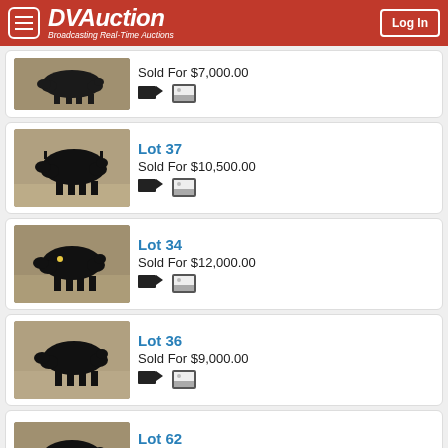DVAuction - Broadcasting Real-Time Auctions
Sold For $7,000.00
Lot 37
Sold For $10,500.00
Lot 34
Sold For $12,000.00
Lot 36
Sold For $9,000.00
Lot 62
Sold For $7,000.00